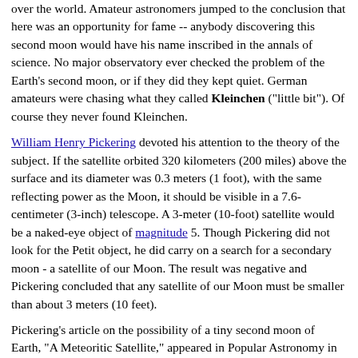over the world. Amateur astronomers jumped to the conclusion that here was an opportunity for fame -- anybody discovering this second moon would have his name inscribed in the annals of science. No major observatory ever checked the problem of the Earth's second moon, or if they did they kept quiet. German amateurs were chasing what they called Kleinchen ("little bit"). Of course they never found Kleinchen.
William Henry Pickering devoted his attention to the theory of the subject. If the satellite orbited 320 kilometers (200 miles) above the surface and its diameter was 0.3 meters (1 foot), with the same reflecting power as the Moon, it should be visible in a 7.6-centimeter (3-inch) telescope. A 3-meter (10-foot) satellite would be a naked-eye object of magnitude 5. Though Pickering did not look for the Petit object, he did carry on a search for a secondary moon - a satellite of our Moon. The result was negative and Pickering concluded that any satellite of our Moon must be smaller than about 3 meters (10 feet).
Pickering's article on the possibility of a tiny second moon of Earth, "A Meteoritic Satellite," appeared in Popular Astronomy in 1922. It caused another short flurry of activity among amateur astronomers, since it contained a virtual request: "A 3-5-inch telescope with a low-power eyepiece would be the likeliest means to find it. It is an opportunity for the amateur." But again, all searches remained fruitless.